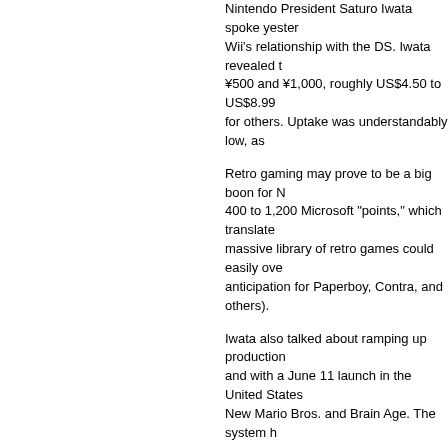Nintendo President Saturo Iwata spoke yesterday about the Wii's relationship with the DS. Iwata revealed that DS games cost ¥500 and ¥1,000, roughly US$4.50 to US$8.99, for some and free for others. Uptake was understandably low, as
Retro gaming may prove to be a big boon for N... 400 to 1,200 Microsoft "points," which translates... massive library of retro games could easily ove... anticipation for Paperboy, Contra, and others).
Iwata also talked about ramping up production... and with a June 11 launch in the United States... New Mario Bros. and Brain Age. The system h
Iwata talked up the Wii's capabilities in terms o... controller for Wii games. He also hinted that fu
Downloading DS demos via the Wii is a nice to... of being able to use the Wii to play DS games... GBA games on their televisions, and if the Wii
From the picture Iwata is painting, it's clear tha... emphasis on inexpensive classic games purch... Turbografx titles adds considerable appeal for
Unfortunately, we still don't know when the Wii... September.